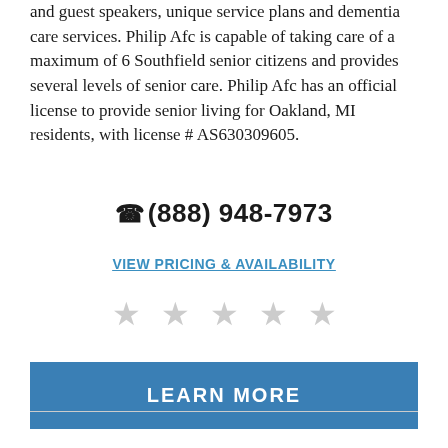and guest speakers, unique service plans and dementia care services. Philip Afc is capable of taking care of a maximum of 6 Southfield senior citizens and provides several levels of senior care. Philip Afc has an official license to provide senior living for Oakland, MI residents, with license # AS630309605.
(888) 948-7973
VIEW PRICING & AVAILABILITY
[Figure (other): Five empty/unfilled gray star ratings]
LEARN MORE